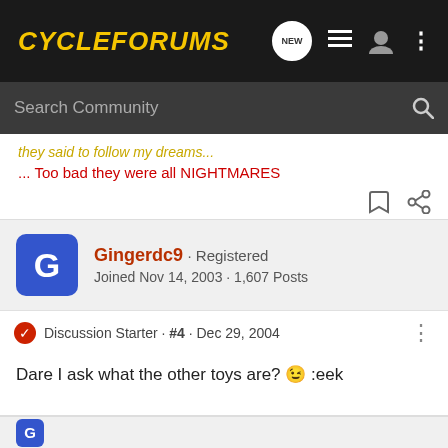CycleForums
They said to follow my dreams...
... Too bad they were all NIGHTMARES
Gingerdc9 · Registered
Joined Nov 14, 2003 · 1,607 Posts
Discussion Starter · #4 · Dec 29, 2004
Dare I ask what the other toys are? 😉 :eek